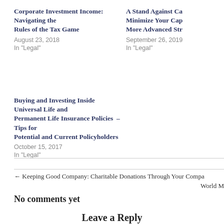Corporate Investment Income: Navigating the Rules of the Tax Game
August 23, 2018
In "Legal"
A Stand Against Ca... Minimize Your Cap... More Advanced Str...
September 26, 2019
In "Legal"
Buying and Investing Inside Universal Life and Permanent Life Insurance Policies – Tips for Potential and Current Policyholders
October 15, 2017
In "Legal"
← Keeping Good Company: Charitable Donations Through Your Compa... World M...
No comments yet
Leave a Reply